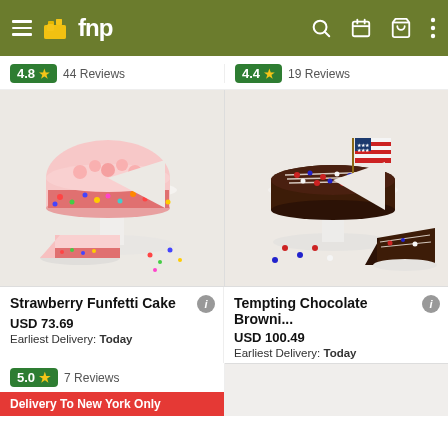fnp - navigation bar with hamburger menu, logo, search, calendar, cart, and more icons
4.8 ★  44 Reviews
4.4 ★  19 Reviews
[Figure (photo): Strawberry Funfetti Cake on a white pedestal stand, with a slice cut showing colorful sprinkles inside and pink frosting, plus a separated slice in front, and scattered sprinkles]
[Figure (photo): Tempting Chocolate Brownie cake on a white pedestal stand, decorated with colorful sprinkles and an American flag topper, with a slice showing rich chocolate interior, on a white background with red and blue sprinkle confetti]
Strawberry Funfetti Cake  ⓘ
USD 73.69
Earliest Delivery: Today
Tempting Chocolate Browni...  ⓘ
USD 100.49
Earliest Delivery: Today
5.0 ★  7 Reviews
Delivery To New York Only